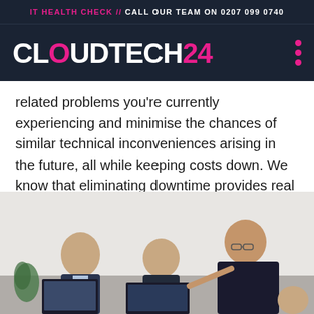IT HEALTH CHECK // CALL OUR TEAM ON 0207 099 0740
[Figure (logo): CloudTech24 logo in white bold text with pink D, on dark navy background, with three pink dots menu icon on right]
related problems you’re currently experiencing and minimise the chances of similar technical inconveniences arising in the future, all while keeping costs down. We know that eliminating downtime provides real productivity benefits, and we’re here to help you experience these rewards first-hand.
[Figure (photo): Office scene with three or four professionals gathered around computer monitors, one leaning forward pointing at screen, in a bright office environment]